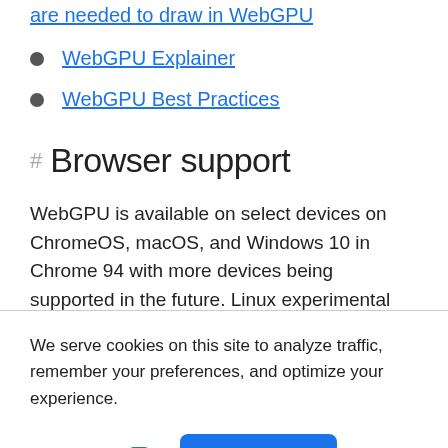are needed to draw in WebGPU
WebGPU Explainer
WebGPU Best Practices
Browser support
WebGPU is available on select devices on ChromeOS, macOS, and Windows 10 in Chrome 94 with more devices being supported in the future. Linux experimental support is
We serve cookies on this site to analyze traffic, remember your preferences, and optimize your experience.
More details  Ok, Got it.